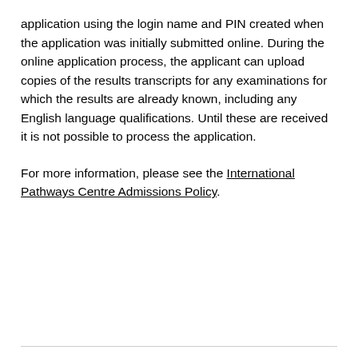application using the login name and PIN created when the application was initially submitted online. During the online application process, the applicant can upload copies of the results transcripts for any examinations for which the results are already known, including any English language qualifications. Until these are received it is not possible to process the application.
For more information, please see the International Pathways Centre Admissions Policy.